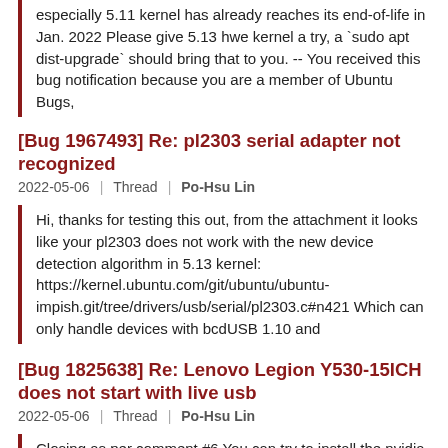especially 5.11 kernel has already reaches its end-of-life in Jan. 2022 Please give 5.13 hwe kernel a try, a `sudo apt dist-upgrade` should bring that to you. -- You received this bug notification because you are a member of Ubuntu Bugs,
[Bug 1967493] Re: pl2303 serial adapter not recognized
2022-05-06 | Thread | Po-Hsu Lin
Hi, thanks for testing this out, from the attachment it looks like your pl2303 does not work with the new device detection algorithm in 5.13 kernel: https://kernel.ubuntu.com/git/ubuntu/ubuntu-impish.git/tree/drivers/usb/serial/pl2303.c#n421 Which can only handle devices with bcdUSB 1.10 and
[Bug 1825638] Re: Lenovo Legion Y530-15ICH does not start with live usb
2022-05-06 | Thread | Po-Hsu Lin
Closing as per comment #6 You can try to install the nvidia driver then the KDE on ubuntu. -- You received this bug notification because you are a member of Ubuntu Bugs, which is subscribed to Ubuntu. https://bugs.launchpad.net/bugs/1825638 Title: Lenovo